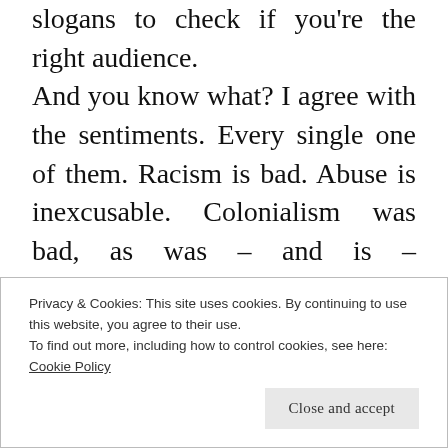slogans to check if you're the right audience. And you know what? I agree with the sentiments. Every single one of them. Racism is bad. Abuse is inexcusable. Colonialism was bad, as was – and is – patriarchalism, and we even can't say for sure whether matriarchalism would've been better because we don't have too much reliable information on any case of a well-developed modern matriarchal culture (well, maybe except for Morocco, but from the well-timed account, the
Privacy & Cookies: This site uses cookies. By continuing to use this website, you agree to their use.
To find out more, including how to control cookies, see here: Cookie Policy
Close and accept